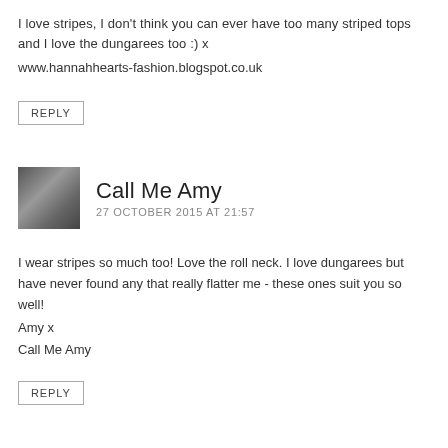I love stripes, I don't think you can ever have too many striped tops and I love the dungarees too :) x
www.hannahhearts-fashion.blogspot.co.uk
REPLY
Call Me Amy
27 OCTOBER 2015 AT 21:57
I wear stripes so much too! Love the roll neck. I love dungarees but have never found any that really flatter me - these ones suit you so well!
Amy x
Call Me Amy
REPLY